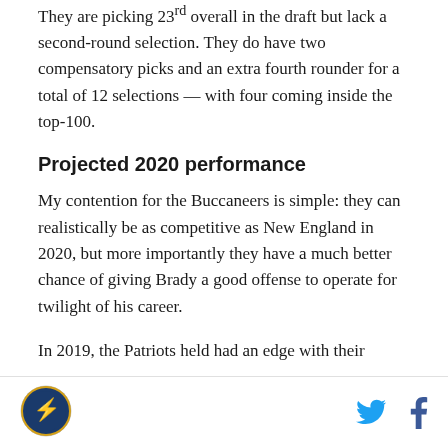They are picking 23rd overall in the draft but lack a second-round selection. They do have two compensatory picks and an extra fourth rounder for a total of 12 selections — with four coming inside the top-100.
Projected 2020 performance
My contention for the Buccaneers is simple: they can realistically be as competitive as New England in 2020, but more importantly they have a much better chance of giving Brady a good offense to operate for twilight of his career.
In 2019, the Patriots held had an edge with their
Logo and social media icons